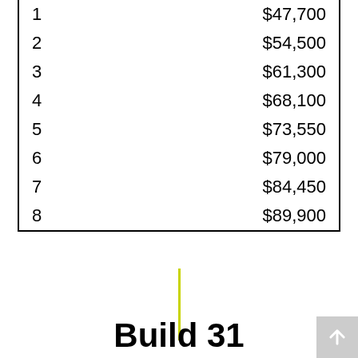| Family Size | Maximum Amount |
| --- | --- |
| 1 | $47,700 |
| 2 | $54,500 |
| 3 | $61,300 |
| 4 | $68,100 |
| 5 | $73,550 |
| 6 | $79,000 |
| 7 | $84,450 |
| 8 | $89,900 |
[Figure (other): Vertical yellow-green divider line]
Build 31